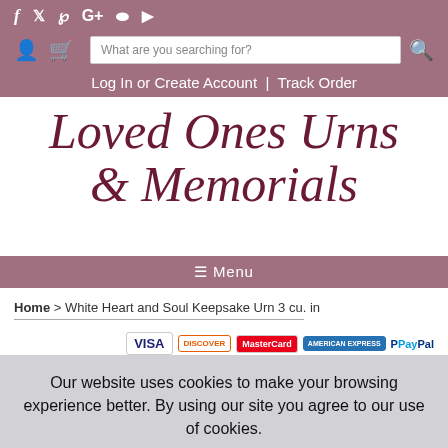Social media icons: Facebook, Twitter, Pinterest, Google+, Instagram, YouTube
User icon, Cart icon | Search: What are you searching for? | Search button
Log In or Create Account | Track Order
Loved Ones Urns & Memorials
≡ Menu
Home > White Heart and Soul Keepsake Urn 3 cu. in
[Figure (other): Payment method icons: VISA, DISCOVER, MasterCard, AMERICAN EXPRESS, PayPal]
Our website uses cookies to make your browsing experience better. By using our site you agree to our use of cookies. Learn More
I Agree